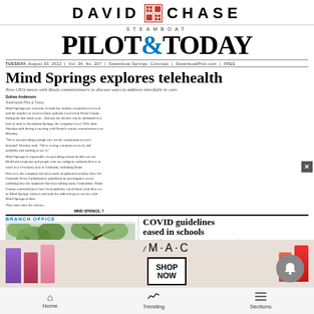DAVID CHASE
STEAMBOAT PILOT&TODAY
TUESDAY, August 30, 2022 | Vol. 34, No. 207 | Steamboat Springs, Colorado | SteamboatPilot.com | FREE
Mind Springs explores telehealth
New CEO meets with Routt commissioners to discuss ways to address shortfalls in care
Suhas Anderson
Steamboat Pilot & Today

Mind Springs saw a decline in both the number of patients it served and the number of services those patients received at Routt County during the last fiscal year...
BRANCH OFFICE
[Figure (photo): Person in tree branches, outdoor photo related to Branch Office story]
COVID guidelines eased in schools
Health official says virus now handled more like influenza
Suhas Anderson
Steamboat Pilot & Today

For Routt County Public Health Director Roberta Smith, the start of the school year has been vastly different than it was last year...
[Figure (photo): MAC cosmetics advertisement with lipsticks and SHOP NOW button]
Home  Trending  Sections